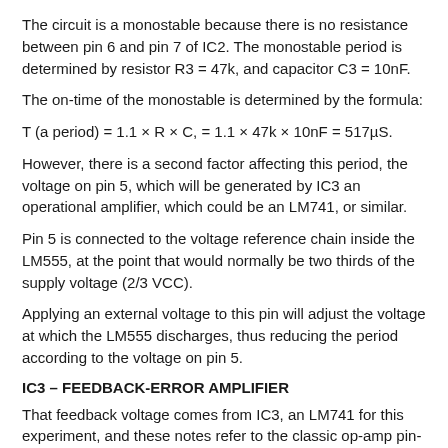The circuit is a monostable because there is no resistance between pin 6 and pin 7 of IC2. The monostable period is determined by resistor R3 = 47k, and capacitor C3 = 10nF.
The on-time of the monostable is determined by the formula:
However, there is a second factor affecting this period, the voltage on pin 5, which will be generated by IC3 an operational amplifier, which could be an LM741, or similar.
Pin 5 is connected to the voltage reference chain inside the LM555, at the point that would normally be two thirds of the supply voltage (2/3 VCC).
Applying an external voltage to this pin will adjust the voltage at which the LM555 discharges, thus reducing the period according to the voltage on pin 5.
IC3 – FEEDBACK-ERROR AMPLIFIER
That feedback voltage comes from IC3, an LM741 for this experiment, and these notes refer to the classic op-amp pin-out.
The reference divider chain of R6 and R7 should be directly